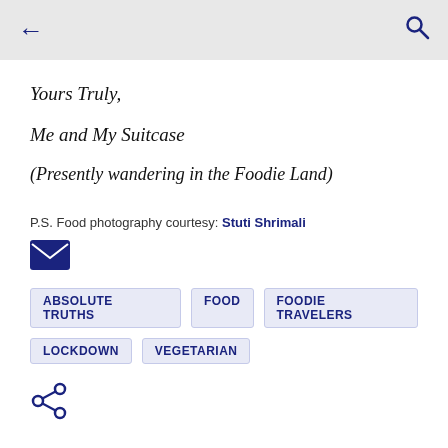← [back] [search]
Yours Truly,
Me and My Suitcase
(Presently wandering in the Foodie Land)
P.S. Food photography courtesy: Stuti Shrimali
[Figure (other): Email/envelope icon (dark navy blue square with envelope shape)]
ABSOLUTE TRUTHS
FOOD
FOODIE TRAVELERS
LOCKDOWN
VEGETARIAN
[Figure (other): Share icon (navy blue)]